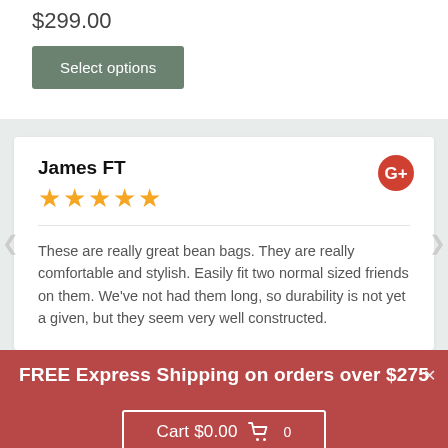$299.00
Select options
James FT
★★★★★
These are really great bean bags. They are really comfortable and stylish. Easily fit two normal sized friends on them. We've not had them long, so durability is not yet a given, but they seem very well constructed.
FREE Express Shipping on orders over $275
Cart $0.00  0